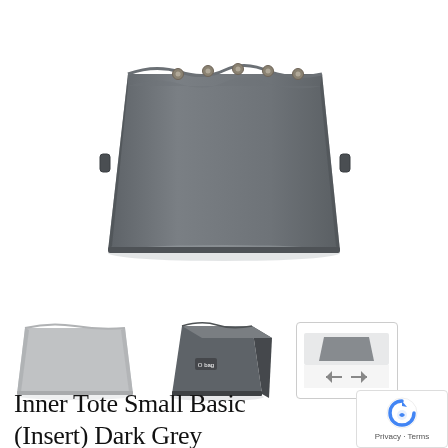[Figure (photo): Main product photo of a dark grey inner tote bag insert, trapezoidal shape with snap buttons along the top edge, shown against white background]
[Figure (photo): Thumbnail 1: light grey version of the inner tote bag insert viewed from front angle]
[Figure (photo): Thumbnail 2: dark grey inner tote insert shown from a 3/4 angle, more compact/upright view]
[Figure (photo): Thumbnail 3: partially visible product image with navigation arrows (prev/next) overlaid]
Inner Tote Small Basic (Insert) Dark Grey